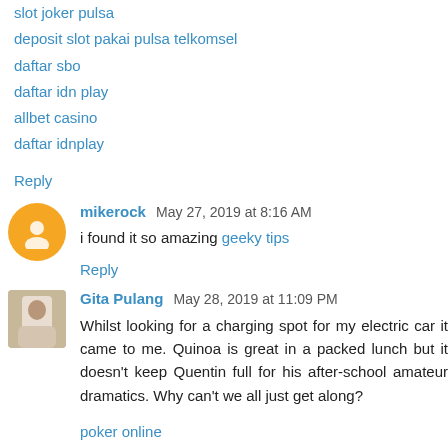slot joker pulsa
deposit slot pakai pulsa telkomsel
daftar sbo
daftar idn play
allbet casino
daftar idnplay
Reply
mikerock May 27, 2019 at 8:16 AM
i found it so amazing geeky tips
Reply
Gita Pulang May 28, 2019 at 11:09 PM
Whilst looking for a charging spot for my electric car it came to me. Quinoa is great in a packed lunch but it doesn't keep Quentin full for his after-school amateur dramatics. Why can't we all just get along?
poker online